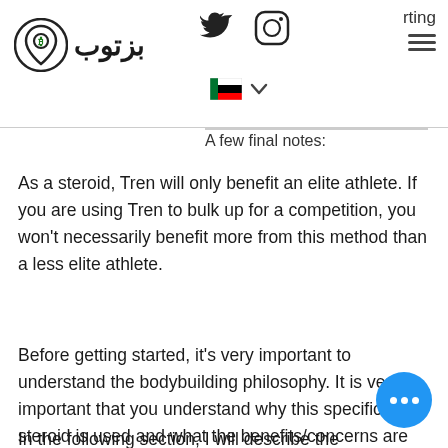[Figure (logo): Biztop logo with Arabic text 'بزتوب' and map pin icon, plus Twitter and Instagram icons, UAE flag with chevron, and hamburger menu with partial text 'rting']
A few final notes:
As a steroid, Tren will only benefit an elite athlete. If you are using Tren to bulk up for a competition, you won't necessarily benefit more from this method than a less elite athlete.
Before getting started, it's very important to understand the bodybuilding philosophy. It is very important that you understand why this specific steroid is used and what the benefits/concerns are as well as the side effects/toxicity of this method. That is why it is very important that you understand all of the pros and cons before jumping in to this technique.
In the following section, I will describe the